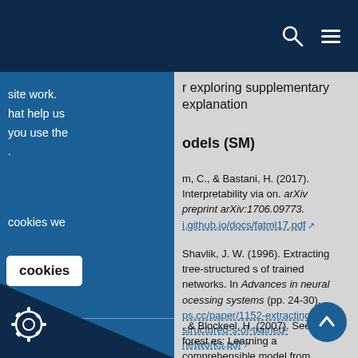Navigation bar with search and menu icons
site work. hat help us you use the .
cookies we
cookies
ity such as lity. You
r exploring supplementary explanation
odels (SM)
m, C., & Bastani, H. (2017). Interpretability via on. arXiv preprint arXiv:1706.09773. i.github.io/docs/fatml17.pdf
Shavlik, J. W. (1996). Extracting tree-structured s of trained networks. In Advances in neural ocessing systems (pp. 24-30). ps.cc/paper/1152-extracting-tree-structured-s-of-trained-networks.pdf
, & Blockeel, H. (2007). Seeing the forest es: Learning a comprehensible model from European Conference on Machine Learning (pp.